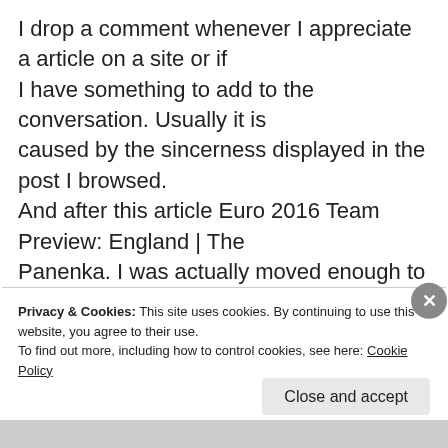I drop a comment whenever I appreciate a article on a site or if I have something to add to the conversation. Usually it is caused by the sincerness displayed in the post I browsed. And after this article Euro 2016 Team Preview: England | The Panenka. I was actually moved enough to drop a thought 🙂 I do have 2 questions for you if it's okay. Could it be simply me or do some of the responses appear as if they are
Privacy & Cookies: This site uses cookies. By continuing to use this website, you agree to their use. To find out more, including how to control cookies, see here: Cookie Policy
Close and accept